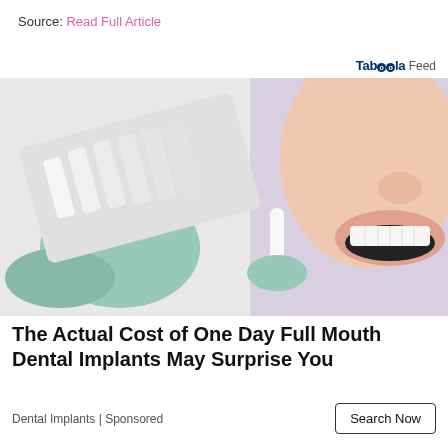Source: Read Full Article
Taboola Feed
[Figure (photo): Close-up of a dentist in green latex gloves holding dental shade guide samples next to a smiling woman with white teeth against a light purple background.]
The Actual Cost of One Day Full Mouth Dental Implants May Surprise You
Dental Implants | Sponsored
Search Now